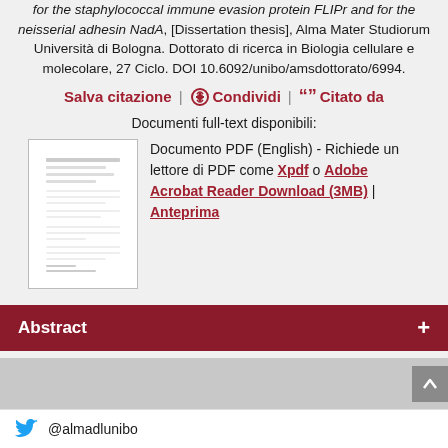for the staphylococcal immune evasion protein FLIPr and for the neisserial adhesin NadA, [Dissertation thesis], Alma Mater Studiorum Università di Bologna. Dottorato di ricerca in Biologia cellulare e molecolare, 27 Ciclo. DOI 10.6092/unibo/amsdottorato/6994.
Salva citazione | Condividi | Citato da
Documenti full-text disponibili:
[Figure (screenshot): Thumbnail of a PDF document page]
Documento PDF (English) - Richiede un lettore di PDF come Xpdf o Adobe Acrobat Reader Download (3MB) | Anteprima
Abstract
Altri metadati
Gestione del documento:
@almadlunibo